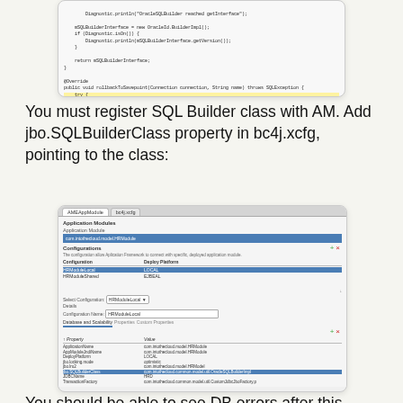[Figure (screenshot): Code screenshot showing Java code with OracleId.BuilderImpl, rollbackToSavepoint method, with highlighted catch block line in yellow]
You must register SQL Builder class with AM. Add jbo.SQLBuilderClass property in bc4j.xcfg, pointing to the class:
[Figure (screenshot): IDE UI screenshot showing Application Modules configuration panel with Configurations section, showing Deploy Platform LOCAL selected, and custom configuration properties including jbo.SQLBuilderClass property highlighted in blue row]
You should be able to see DB errors after this change is